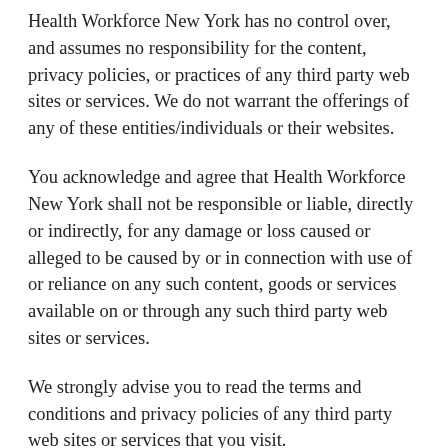Health Workforce New York has no control over, and assumes no responsibility for the content, privacy policies, or practices of any third party web sites or services. We do not warrant the offerings of any of these entities/individuals or their websites.
You acknowledge and agree that Health Workforce New York shall not be responsible or liable, directly or indirectly, for any damage or loss caused or alleged to be caused by or in connection with use of or reliance on any such content, goods or services available on or through any such third party web sites or services.
We strongly advise you to read the terms and conditions and privacy policies of any third party web sites or services that you visit.